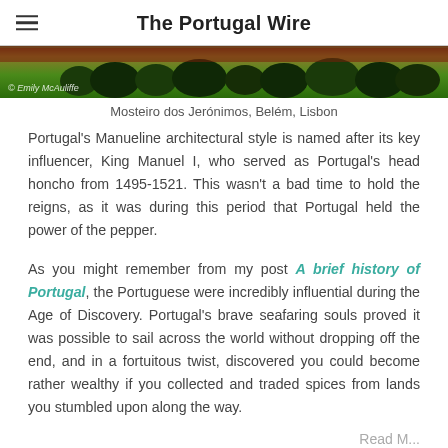The Portugal Wire
[Figure (photo): Partial photo of Mosteiro dos Jerónimos gardens with dark ornamental bushes and green lawns, watermark reading '© Emily McAuliffe']
Mosteiro dos Jerónimos, Belém, Lisbon
Portugal's Manueline architectural style is named after its key influencer, King Manuel I, who served as Portugal's head honcho from 1495-1521. This wasn't a bad time to hold the reigns, as it was during this period that Portugal held the power of the pepper.
As you might remember from my post A brief history of Portugal, the Portuguese were incredibly influential during the Age of Discovery. Portugal's brave seafaring souls proved it was possible to sail across the world without dropping off the end, and in a fortuitous twist, discovered you could become rather wealthy if you collected and traded spices from lands you stumbled upon along the way.
Read M...